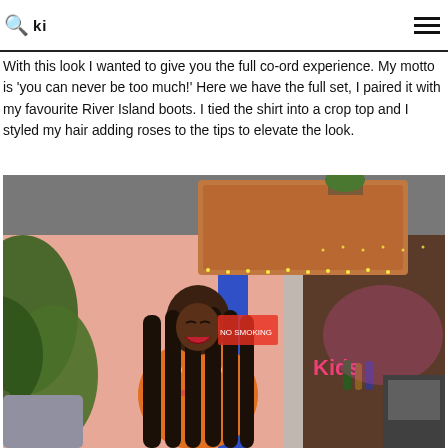🔍 [logo] ☰
With this look I wanted to give you the full co-ord experience. My motto is 'you can never be too much!' Here we have the full set, I paired it with my favourite River Island boots. I tied the shirt into a crop top and I styled my hair adding roses to the tips to elevate the look.
[Figure (photo): A woman wearing an orange floral co-ord outfit laughing in a colorful bar/restaurant venue with tropical pink wall murals, plants, a wicker basket hanging from the ceiling, and bar equipment visible in the background.]